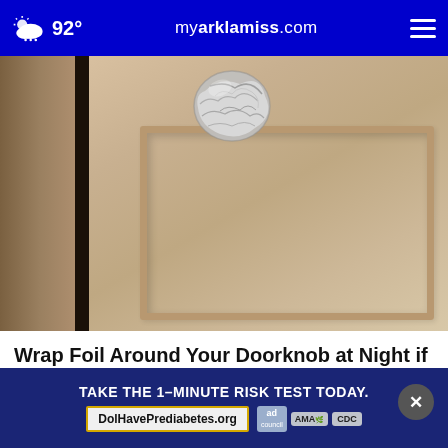92° myarklamiss.com
[Figure (photo): Close-up photo of a door knob wrapped in crumpled aluminum foil, shown on a wood-grain door with a dark door frame gap visible on the left.]
Wrap Foil Around Your Doorknob at Night if Alone, Here's Why
Sogoodly
[Figure (screenshot): Advertisement banner: TAKE THE 1-MINUTE RISK TEST TODAY. DolHavePrediabetes.org with ad council, AMA, and CDC logos.]